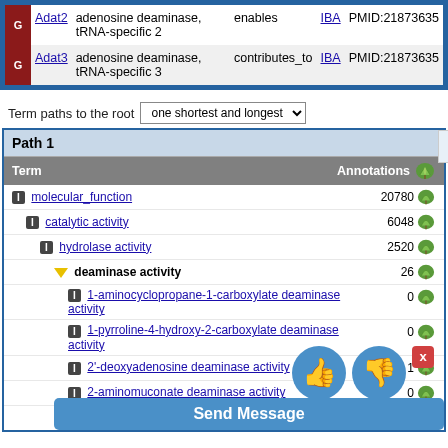|  | Gene | Description | Relation | Source | Reference |
| --- | --- | --- | --- | --- | --- |
| G | Adat2 | adenosine deaminase, tRNA-specific 2 | enables | IBA | PMID:21873635 |
| G | Adat3 | adenosine deaminase, tRNA-specific 3 | contributes_to | IBA | PMID:21873635 |
Term paths to the root
Path 1
| Term | Annotations |
| --- | --- |
| molecular_function | 20780 |
| catalytic activity | 6048 |
| hydrolase activity | 2520 |
| deaminase activity | 26 |
| 1-aminocyclopropane-1-carboxylate deaminase activity | 0 |
| 1-pyrroline-4-hydroxy-2-carboxylate deaminase activity | 0 |
| 2'-deoxyadenosine deaminase activity | 1 |
| 2-aminomuconate deaminase activity | 0 |
| 2-iminobutanoate/2-iminopropanoate deaminase + | 1 |
[Figure (screenshot): Feedback overlay with thumbs up, thumbs down buttons and Send Message bar]